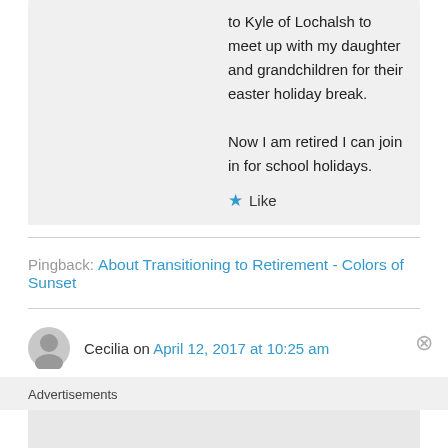to Kyle of Lochalsh to meet up with my daughter and grandchildren for their easter holiday break.
Now I am retired I can join in for school holidays.
★ Like
Pingback: About Transitioning to Retirement - Colors of Sunset
Cecilia on April 12, 2017 at 10:25 am
Advertisements